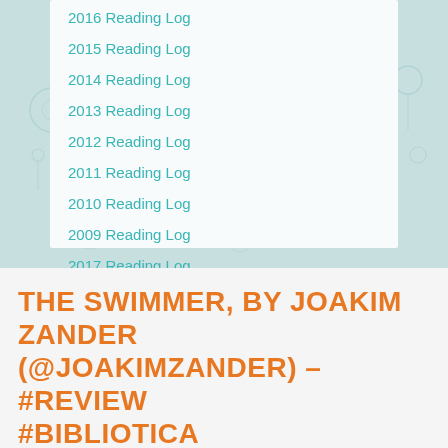2016 Reading Log
2015 Reading Log
2014 Reading Log
2013 Reading Log
2012 Reading Log
2011 Reading Log
2010 Reading Log
2009 Reading Log
2017 Reading Log
THE SWIMMER, BY JOAKIM ZANDER (@JOAKIMZANDER) – #REVIEW #BIBLIOTICA